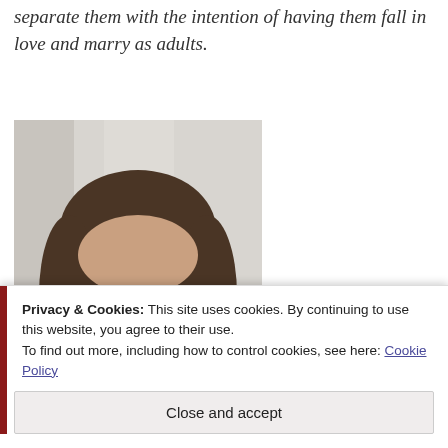separate them with the intention of having them fall in love and marry as adults.
[Figure (photo): Portrait photo of a middle-aged woman with shoulder-length brown hair, wearing round glasses, smiling, photographed indoors near a window.]
Privacy & Cookies: This site uses cookies. By continuing to use this website, you agree to their use.
To find out more, including how to control cookies, see here: Cookie Policy
Close and accept